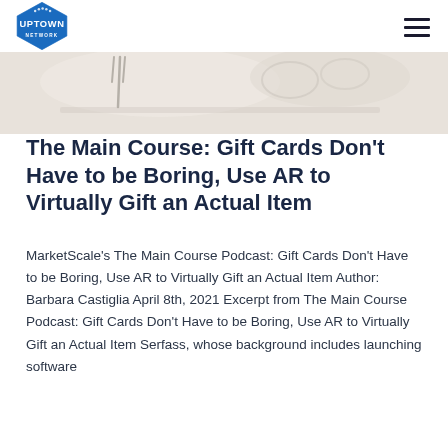Uptown Network logo and navigation
[Figure (photo): Hero image showing a light-colored background with partial view of a dish or table setting]
The Main Course: Gift Cards Don't Have to be Boring, Use AR to Virtually Gift an Actual Item
MarketScale's The Main Course Podcast: Gift Cards Don't Have to be Boring, Use AR to Virtually Gift an Actual Item Author: Barbara Castiglia April 8th, 2021 Excerpt from The Main Course Podcast: Gift Cards Don't Have to be Boring, Use AR to Virtually Gift an Actual Item Serfass, whose background includes launching software